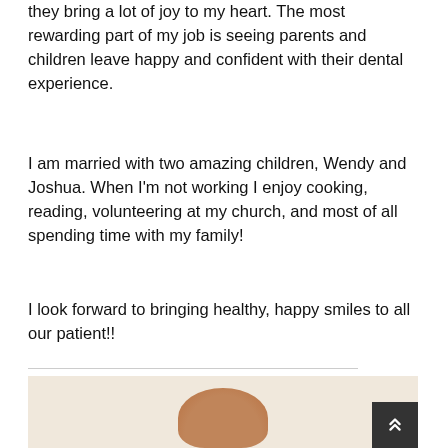they bring a lot of joy to my heart. The most rewarding part of my job is seeing parents and children leave happy and confident with their dental experience.
I am married with two amazing children, Wendy and Joshua. When I'm not working I enjoy cooking, reading, volunteering at my church, and most of all spending time with my family!
I look forward to bringing healthy, happy smiles to all our patient!!
[Figure (photo): Top of a person's head with brown hair, photographed against a light beige textured wall background.]